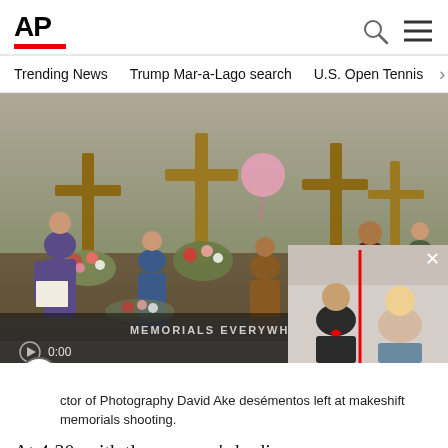AP
Trending News
Trump Mar-a-Lago search
U.S. Open Tennis
[Figure (photo): Video player showing a memorial scene with wooden crosses decorated with flowers and balloons, people gathered around. Overlay shows 'MEMORIALS EVERYWHERE' title bar and 0:00 timestamp. A small PIP video in bottom-right corner shows people at an indoor event.]
ctor of Photography David Ake desémentos left at makeshift memorials shooting.
At 4:30, with the gunmen’s bodies